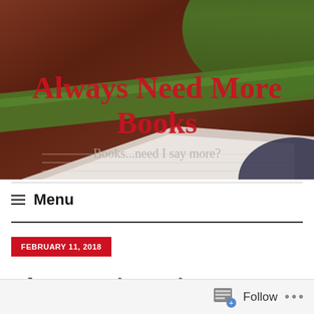[Figure (photo): Blog header image showing stacked books/notebooks on a wooden table with a green bowl in the upper right corner. Dark reddish-brown wood background with white notebook pages visible.]
Always Need More Books
Books...need I say more?
Menu
FEBRUARY 11, 2018
The Favorite Artist